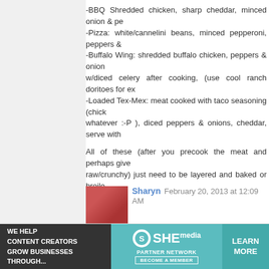-BBQ Shredded chicken, sharp cheddar, minced onion & pe
-Pizza: white/cannelini beans, minced pepperoni, peppers &
-Buffalo Wing: shredded buffalo chicken, peppers & onion w/diced celery after cooking, (use cool ranch doritoes for ex
-Loaded Tex-Mex: meat cooked with taco seasoning (chick whatever :-P ), diced peppers & onions, cheddar, serve with
All of these (after you precook the meat and perhaps give raw/crunchy) just need to be layered and baked or broile option.
Reply
Sharyn  February 20, 2013 at 12:09 AM
Seriously, Jen, get thee to Costco -- and do it quickly, as chocolate crack drops (OK, maybe not crack, but I'm not s and I bought you a spare bag, for your next chocolate cry fo
I used to cook ALL the time, including lasagnas for frie motherhood and a serious bout of depression killed that. En one costs $5. They also have salmon filets with pesto butte fresh mozzarella (they sell it pre-sliced, fer gosh sakes) slic asparagus (toss it in olive oil, salt it, stick it in the oven, ad that made my father-in-law exclaim, "Now, that's wha reading heating instructions. Costco has a lot of other
[Figure (infographic): SHE Media partner network advertisement banner: dark left panel with 'WE HELP CONTENT CREATORS GROW BUSINESSES THROUGH...', teal center with SHE logo and 'PARTNER NETWORK BECOME A MEMBER', green right panel with 'LEARN MORE']